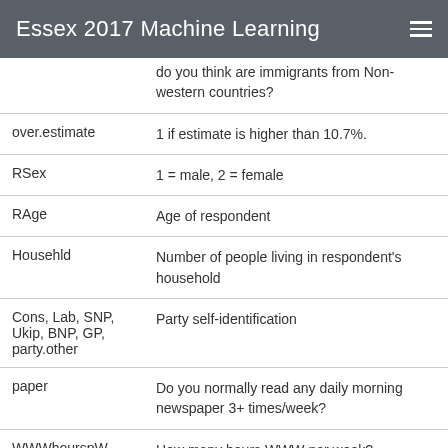Essex 2017 Machine Learning
|  | do you think are immigrants from Non-western countries? |
| over.estimate | 1 if estimate is higher than 10.7%. |
| RSex | 1 = male, 2 = female |
| RAge | Age of respondent |
| Househld | Number of people living in respondent's household |
| Cons, Lab, SNP, Ukip, BNP, GP, party.other | Party self-identification |
| paper | Do you normally read any daily morning newspaper 3+ times/week? |
| WWWhourspW | How many hours WWW per week? |
| religious | Do you regard yourself as belonging to any particular religion? |